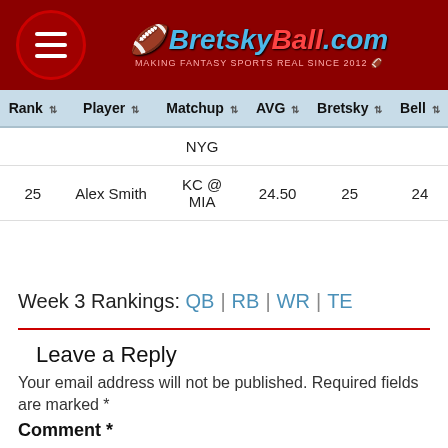BretskyBall.com — MAKING FANTASY SPORTS REAL SINCE 2012
| Rank ⇅ | Player ⇅ | Matchup ⇅ | AVG ⇅ | Bretsky ⇅ | Bell ⇅ |
| --- | --- | --- | --- | --- | --- |
|  |  | NYG |  |  |  |
| 25 | Alex Smith | KC @ MIA | 24.50 | 25 | 24 |
Week 3 Rankings: QB | RB | WR | TE
Leave a Reply
Your email address will not be published. Required fields are marked *
Comment *